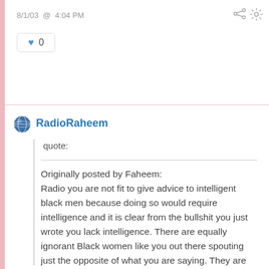8/1/03 @ 4:04 PM
0
RadioRaheem
quote:
Originally posted by Faheem:
Radio you are not fit to give advice to intelligent black men because doing so would require intelligence and it is clear from the bullshit you just wrote you lack intelligence. There are equally ignorant Black women like you out there spouting just the opposite of what you are saying. They are saying to Black...